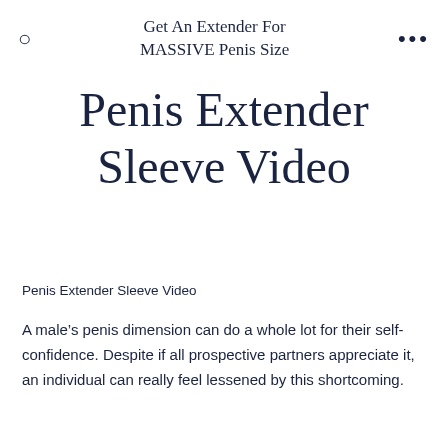Get An Extender For MASSIVE Penis Size
Penis Extender Sleeve Video
Penis Extender Sleeve Video
A male's penis dimension can do a whole lot for their self-confidence. Despite if all prospective partners appreciate it, an individual can really feel lessened by this shortcoming.